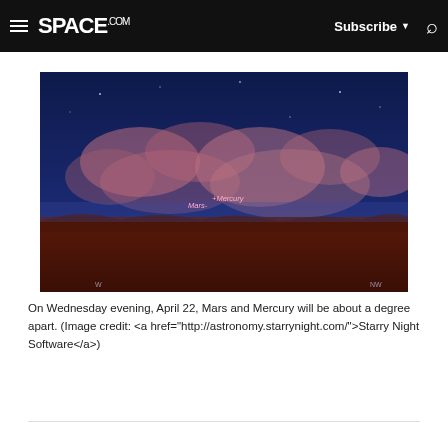SPACE.com — Subscribe — Search
[Figure (photo): Night sky photo showing Mars and Mercury labeled near the horizon above a dark reddish landscape with pink-purple clouds. Text labels on the image read 'Mars-' and '+Mercury'.]
On Wednesday evening, April 22, Mars and Mercury will be about a degree apart. (Image credit: <a href="http://astronomy.starrynight.com/">Starry Night Software</a>)